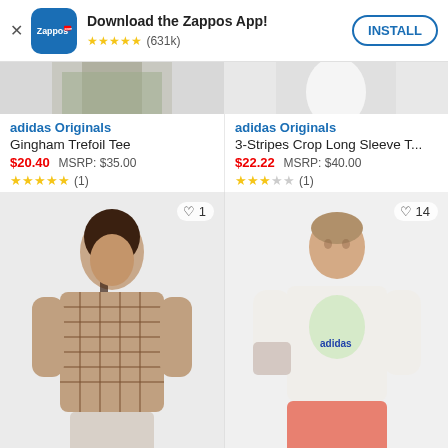[Figure (screenshot): Zappos app install banner with logo, star rating (631k reviews), and INSTALL button]
[Figure (photo): Partial top of two clothing product images (cropped)]
adidas Originals
Gingham Trefoil Tee
$20.40  MSRP: $35.00
★★★★★ (1)
adidas Originals
3-Stripes Crop Long Sleeve T...
$22.22  MSRP: $40.00
★★★☆☆ (1)
[Figure (photo): Male model wearing brown/beige plaid t-shirt with heart/like count of 1]
[Figure (photo): Male model wearing white adidas trefoil graphic t-shirt with pink shorts, heart/like count of 14]